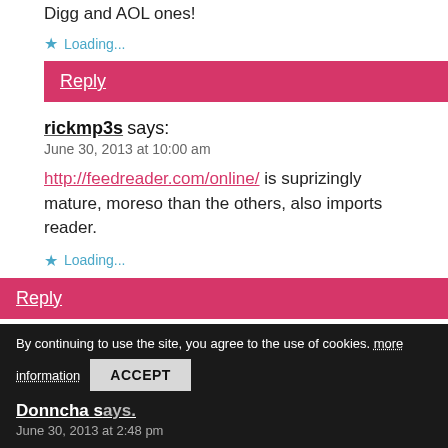Digg and AOL ones!
★ Loading...
Reply
rickmp3s says:
June 30, 2013 at 10:00 am
http://feedreader.com/online/ is suprizingly mature, moreso than the others, also imports reader.
★ Loading...
Reply
By continuing to use the site, you agree to the use of cookies. more information
ACCEPT
Donncha says:
June 30, 2013 at 2:48 pm